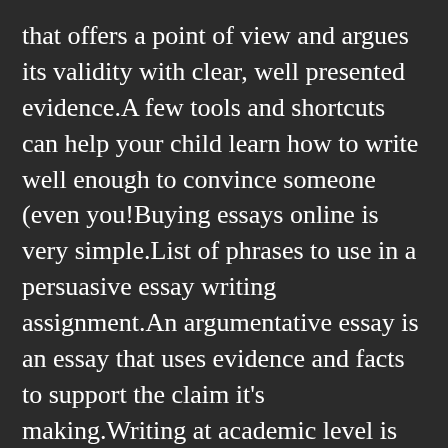that offers a point of view and argues its validity with clear, well presented evidence.A few tools and shortcuts can help your child learn how to write well enough to convince someone (even you!Buying essays online is very simple.List of phrases to use in a persuasive essay writing assignment.An argumentative essay is an essay that uses evidence and facts to support the claim it's making.Writing at academic level is an acquired skill that can literally take years to master – indeed, many students find they only start to feel really confident writing essays just as their undergraduate course comes to an end!Spend 5-10 minutes doing this in the form of notes.This essay is an effective instance of a fundamental argumentative essay.Students revise and edit their first draft of an argumentative essay, and produce a final draft.Malaria is an infectious disease caused by parasites that are transmitted to people through female Anopheles